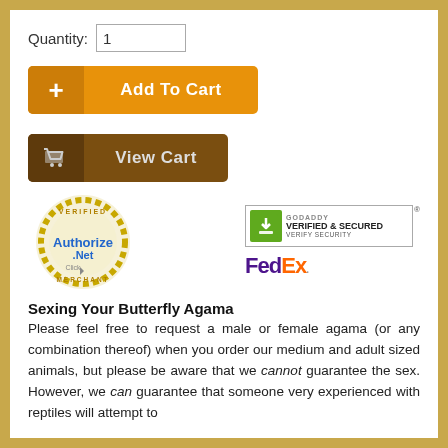Quantity: 1
[Figure (screenshot): Orange 'Add To Cart' button with plus icon on left side]
[Figure (screenshot): Brown 'View Cart' button with cart icon on left side]
[Figure (logo): Authorize.Net Verified Click Merchant badge - gold circular seal]
[Figure (logo): GoDaddy Verified & Secured badge with lock icon]
[Figure (logo): FedEx logo in purple and orange]
Sexing Your Butterfly Agama
Please feel free to request a male or female agama (or any combination thereof) when you order our medium and adult sized animals, but please be aware that we cannot guarantee the sex. However, we can guarantee that someone very experienced with reptiles will attempt to